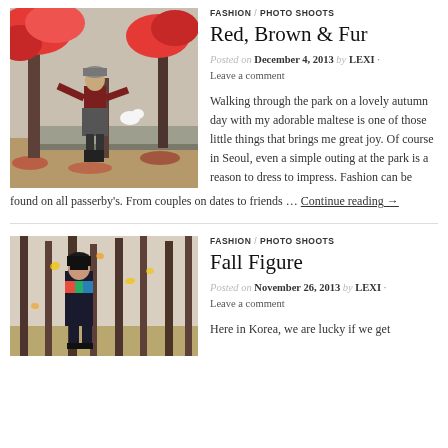FASHION / PHOTO SHOOTS
Red, Brown & Fur
Posted on December 4, 2013 by LEXI · Leave a comment
[Figure (photo): Woman standing in a park with red autumn leaves and trees]
Walking through the park on a lovely autumn day with my adorable maltese is one of those little things that brings me great joy. Of course in Seoul, even a simple outing at the park is a reason to dress to impress. Fashion can be found on all passerby's. From couples on dates to friends … Continue reading →
FASHION / PHOTO SHOOTS
Fall Figure
Posted on November 26, 2013 by LEXI · Leave a comment
[Figure (photo): Woman standing among trees with yellow autumn leaves falling]
Here in Korea, we are lucky if we get